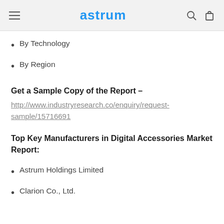astrum
By Technology
By Region
Get a Sample Copy of the Report –
http://www.industryresearch.co/enquiry/request-sample/15716691
Top Key Manufacturers in Digital Accessories Market Report:
Astrum Holdings Limited
Clarion Co., Ltd.